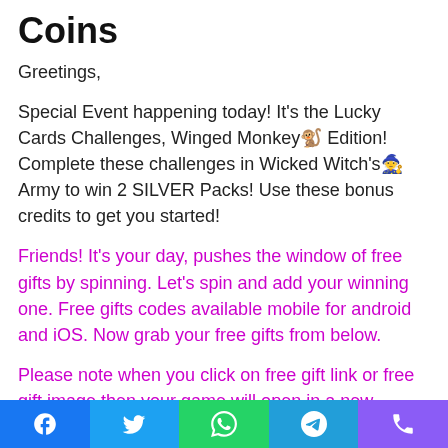Coins
Greetings,
Special Event happening today! It's the Lucky Cards Challenges, Winged Monkey🐒 Edition! Complete these challenges in Wicked Witch's🧙 Army to win 2 SILVER Packs! Use these bonus credits to get you started!
Friends! It's your day, pushes the window of free gifts by spinning. Let's spin and add your winning one. Free gifts codes available mobile for android and iOS. Now grab your free gifts from below.
Please note when you click on free gift link or free gift image then your game will open in a new window or tab just wait to
Facebook Twitter WhatsApp Telegram Phone